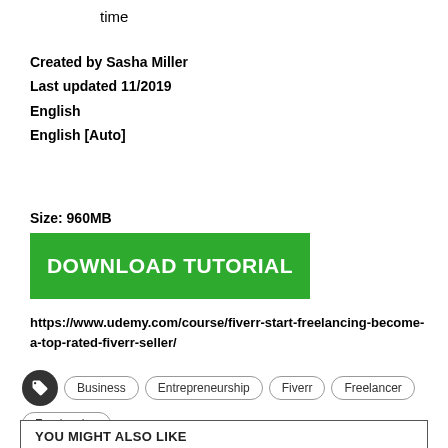time
Created by Sasha Miller
Last updated 11/2019
English
English [Auto]
Size: 960MB
DOWNLOAD TUTORIAL
https://www.udemy.com/course/fiverr-start-freelancing-become-a-top-rated-fiverr-seller/
Business
Entrepreneurship
Fiverr
Freelancer
Freelancing
YOU MIGHT ALSO LIKE